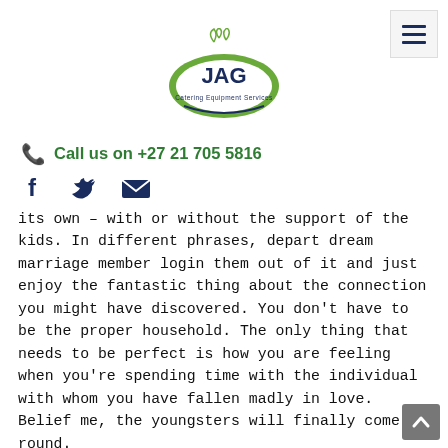[Figure (logo): JAG Catering Equipment Services logo — green oval with JAG text and decorative elements]
Call us on +27 21 705 5816
[Figure (infographic): Social media icons: Facebook, Twitter, Email]
its own – with or without the support of the kids. In different phrases, depart dream marriage member login them out of it and just enjoy the fantastic thing about the connection you might have discovered. You don't have to be the proper household. The only thing that needs to be perfect is how you are feeling when you're spending time with the individual with whom you have fallen madly in love. Belief me, the youngsters will finally come round.